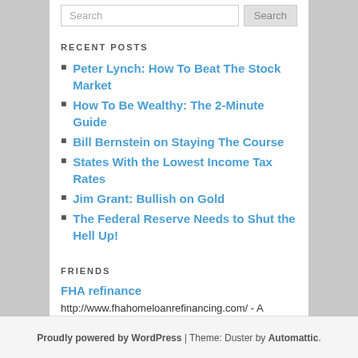RECENT POSTS
Peter Lynch: How To Beat The Stock Market
How To Be Wealthy: The 2-Minute Guide
Bill Bernstein on Staying The Course
States With the Lowest Income Tax Rates
Jim Grant: Bullish on Gold
The Federal Reserve Needs to Shut the Hell Up!
FRIENDS
FHA refinance
http://www.fhahomeloanrefinancing.com/ - A leading FHA mortgage company announced new refinancing plans for Americans.
Proudly powered by WordPress | Theme: Duster by Automattic.